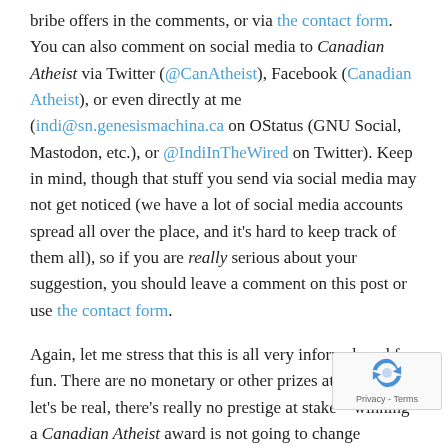bribe offers in the comments, or via the contact form. You can also comment on social media to Canadian Atheist via Twitter (@CanAtheist), Facebook (Canadian Atheist), or even directly at me (indi@sn.genesismachina.ca on OStatus (GNU Social, Mastodon, etc.), or @IndiInTheWired on Twitter). Keep in mind, though that stuff you send via social media may not get noticed (we have a lot of social media accounts spread all over the place, and it's hard to keep track of them all), so if you are really serious about your suggestion, you should leave a comment on this post or use the contact form.
Again, let me stress that this is all very informal, and for fun. There are no monetary or other prizes at stake, and, let's be real, there's really no prestige at stake – winning a Canadian Atheist award is not going to change anyone's life. So let's have some fun with it!
Share this: